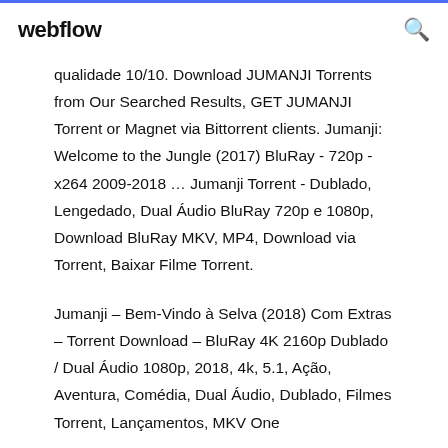webflow
qualidade 10/10. Download JUMANJI Torrents from Our Searched Results, GET JUMANJI Torrent or Magnet via Bittorrent clients. Jumanji: Welcome to the Jungle (2017) BluRay - 720p - x264 2009-2018 … Jumanji Torrent - Dublado, Lengedado, Dual Áudio BluRay 720p e 1080p, Download BluRay MKV, MP4, Download via Torrent, Baixar Filme Torrent.
Jumanji – Bem-Vindo à Selva (2018) Com Extras – Torrent Download – BluRay 4K 2160p Dublado / Dual Áudio 1080p, 2018, 4k, 5.1, Ação, Aventura, Comédia, Dual Áudio, Dublado, Filmes Torrent, Lançamentos, MKV One